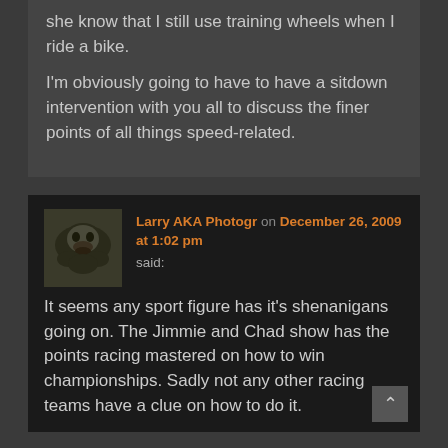she know that I still use training wheels when I ride a bike.
I'm obviously going to have to have a sitdown intervention with you all to discuss the finer points of all things speed-related.
Larry AKA Photogr on December 26, 2009 at 1:02 pm said:
It seems any sport figure has it's shenanigans going on. The Jimmie and Chad show has the points racing mastered on how to win championships. Sadly not any other racing teams have a clue on how to do it.